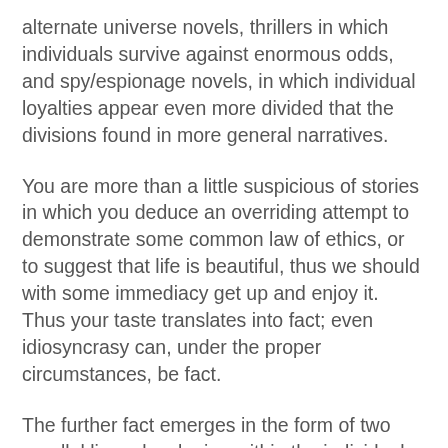alternate universe novels, thrillers in which individuals survive against enormous odds, and spy/espionage novels, in which individual loyalties appear even more divided that the divisions found in more general narratives.
You are more than a little suspicious of stories in which you deduce an overriding attempt to demonstrate some common law of ethics, or to suggest that life is beautiful, thus we should with some immediacy get up and enjoy it. Thus your taste translates into fact; even idiosyncrasy can, under the proper circumstances, be fact.
The further fact emerges in the form of two parallel lines developing within the individual. At about the same time the human youngster is learning to distinguish shapes and forms, the better to identify the explosions of new sensations the child will